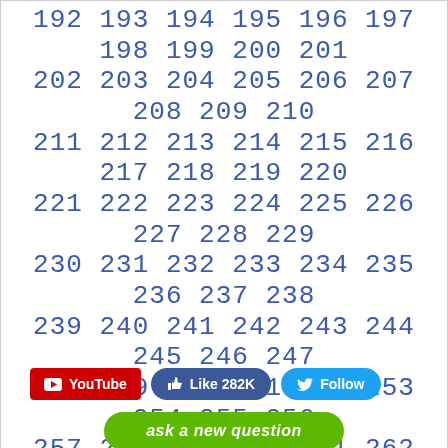192 193 194 195 196 197 198 199 200 201 202 203 204 205 206 207 208 209 210 211 212 213 214 215 216 217 218 219 220 221 222 223 224 225 226 227 228 229 230 231 232 233 234 235 236 237 238 239 240 241 242 243 244 245 246 247 248 249 250 251 252 253 254 255 256 257 258 259 260 261 262 263 264 265 266 267 268 269 270 271 272 273 274 275 276 277 278 279 280 281 282 283 284 285 286 287 288 289 290 291 292 293 294 295 296 297 298 299 300 301 302 303 304 305 306 307 308 309 310 311 312 313 314 315 316 317 318 319 320 321 322 323 324 325 326 327 328 329 330 331 332 333 334 335 336 337 338 339 340 341 342 343 344 345 346 ...
YouTube  Like 282K  Follow
ask a new question